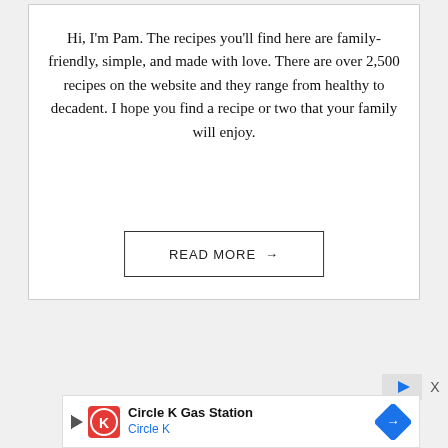Hi, I'm Pam. The recipes you'll find here are family-friendly, simple, and made with love. There are over 2,500 recipes on the website and they range from healthy to decadent. I hope you find a recipe or two that your family will enjoy.
READ MORE →
[Figure (infographic): Advertisement banner for Circle K Gas Station with logo, navigation arrow icon, close button X, and blue diamond-shaped map pin icon.]